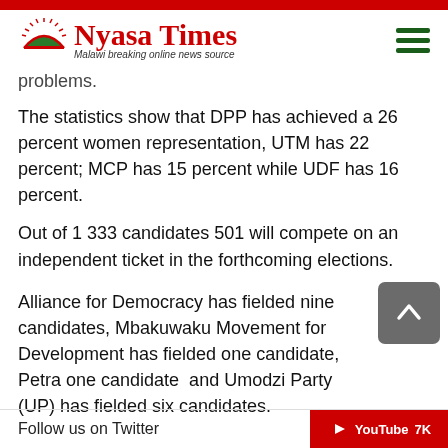Nyasa Times – Malawi breaking online news source
problems.
The statistics show that DPP has achieved a 26 percent women representation, UTM has 22 percent; MCP has 15 percent while UDF has 16 percent.
Out of 1 333 candidates 501 will compete on an independent ticket in the forthcoming elections.
Alliance for Democracy has fielded nine candidates, Mbakuwaku Movement for Development has fielded one candidate, Petra one candidate  and Umodzi Party (UP) has fielded six candidates.
Follow us on Twitter